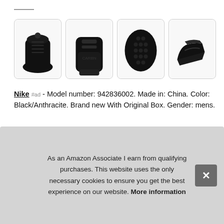[Figure (photo): Four product photos of black Nike sneakers: front view, back view, sole view, and side view, each in a rounded-corner thumbnail box.]
Nike #ad - Model number: 942836002. Made in: China. Color: Black/Anthracite. Brand new With Original Box. Gender: mens.
More information #ad
As an Amazon Associate I earn from qualifying purchases. This website uses the only necessary cookies to ensure you get the best experience on our website. More information